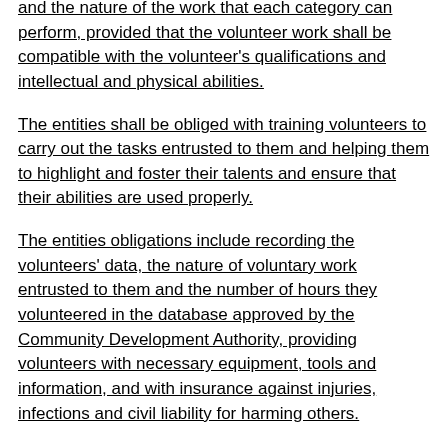and the nature of the work that each category can perform, provided that the volunteer work shall be compatible with the volunteer's qualifications and intellectual and physical abilities.
The entities shall be obliged with training volunteers to carry out the tasks entrusted to them and helping them to highlight and foster their talents and ensure that their abilities are used properly.
The entities obligations include recording the volunteers' data, the nature of voluntary work entrusted to them and the number of hours they volunteered in the database approved by the Community Development Authority, providing volunteers with necessary equipment, tools and information, and with insurance against injuries, infections and civil liability for harming others.